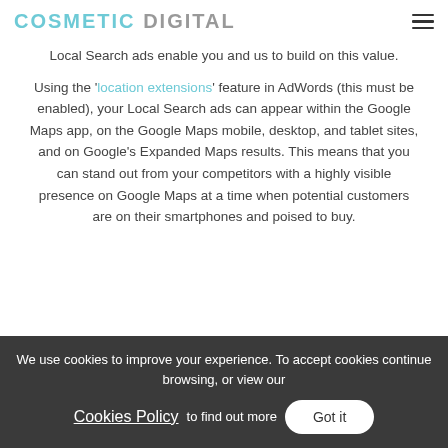COSMETIC DIGITAL
Local Search ads enable you and us to build on this value.
Using the 'location extensions' feature in AdWords (this must be enabled), your Local Search ads can appear within the Google Maps app, on the Google Maps mobile, desktop, and tablet sites, and on Google's Expanded Maps results. This means that you can stand out from your competitors with a highly visible presence on Google Maps at a time when potential customers are on their smartphones and poised to buy.
We use cookies to improve your experience. To accept cookies continue browsing, or view our Cookies Policy to find out more  Got it